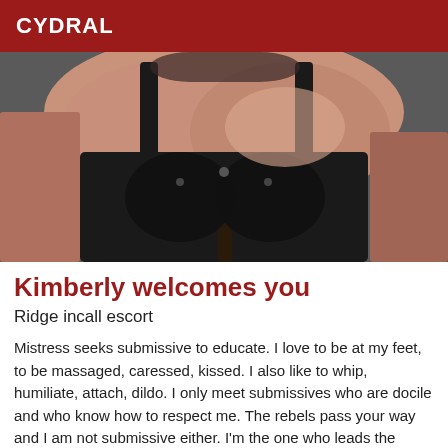CYDRAL
[Figure (photo): Close-up photo of a woman wearing a black lace lingerie top/corset, showing décolletage area]
Kimberly welcomes you
Ridge incall escort
Mistress seeks submissive to educate. I love to be at my feet, to be massaged, caressed, kissed. I also like to whip, humiliate, attach, dildo. I only meet submissives who are docile and who know how to respect me. The rebels pass your way and I am not submissive either. I'm the one who leads the game and I practice from soft to